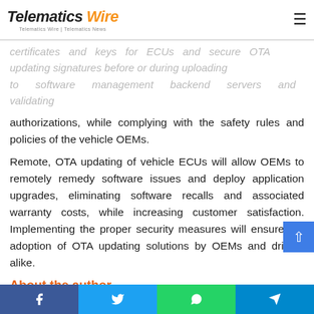Telematics Wire
certificates and keys for ECUs and secure OTA updating signatures before or during uploading to software management backend servers and validating authorizations, while complying with the safety rules and policies of the vehicle OEMs.
Remote, OTA updating of vehicle ECUs will allow OEMs to remotely remedy software issues and deploy application upgrades, eliminating software recalls and associated warranty costs, while increasing customer satisfaction. Implementing the proper security measures will ensure the adoption of OTA updating solutions by OEMs and drivers alike.
About the author
Dr. Walter J. Buga, CEO & Chairman of Arynga, is a serial entrepreneur and strategic thinker with extensive knowledge of high-tech markets, products, and technologies. He is a telecommunications subject matter expert in both wired and